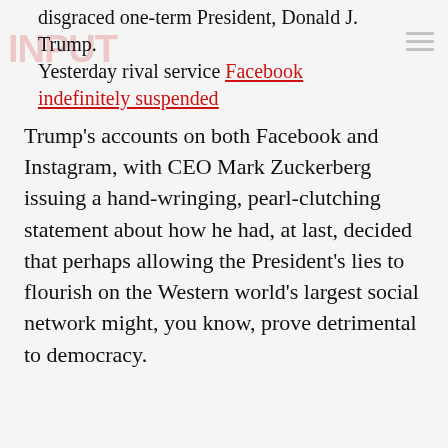disgraced one-term President, Donald J. Trump. Yesterday rival service Facebook indefinitely suspended
Trump's accounts on both Facebook and Instagram, with CEO Mark Zuckerberg issuing a hand-wringing, pearl-clutching statement about how he had, at last, decided that perhaps allowing the President's lies to flourish on the Western world's largest social network might, you know, prove detrimental to democracy.
ADVERTISEMENT